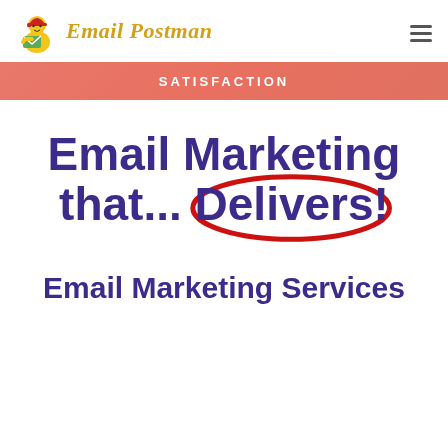[Figure (logo): Email Postman logo: cartoon postman figure holding envelope, with stylized italic text 'Email Postman' in gold/yellow]
SATISFACTION
Email Marketing that... Delivers!
Email Marketing Services